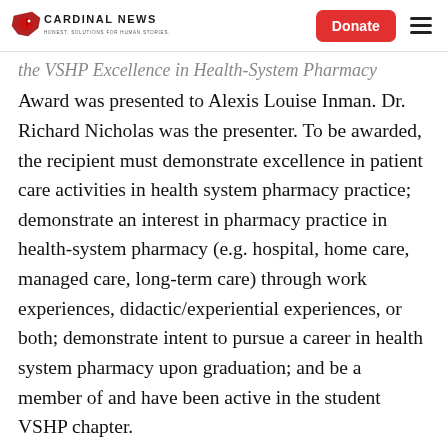Cardinal News | Donate
the VSHP Excellence in Health-System Pharmacy Award was presented to Alexis Louise Inman. Dr. Richard Nicholas was the presenter. To be awarded, the recipient must demonstrate excellence in patient care activities in health system pharmacy practice; demonstrate an interest in pharmacy practice in health-system pharmacy (e.g. hospital, home care, managed care, long-term care) through work experiences, didactic/experiential experiences, or both; demonstrate intent to pursue a career in health system pharmacy upon graduation; and be a member of and have been active in the student VSHP chapter.